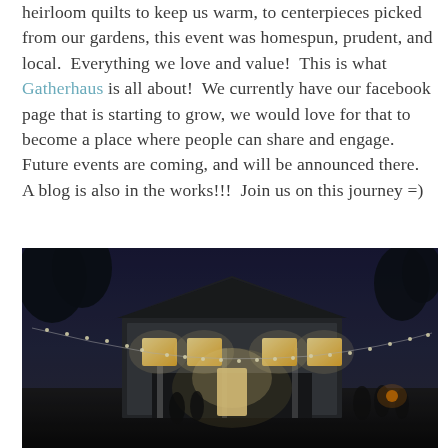heirloom quilts to keep us warm, to centerpieces picked from our gardens, this event was homespun, prudent, and local.  Everything we love and value!  This is what Gatherhaus is all about!  We currently have our facebook page that is starting to grow, we would love for that to become a place where people can share and engage.  Future events are coming, and will be announced there.  A blog is also in the works!!!  Join us on this journey =)
[Figure (photo): Nighttime exterior photo of a house with string lights draped across the backyard/patio area, with warm glowing windows and people gathered outside under a dark blue-purple twilight sky.]